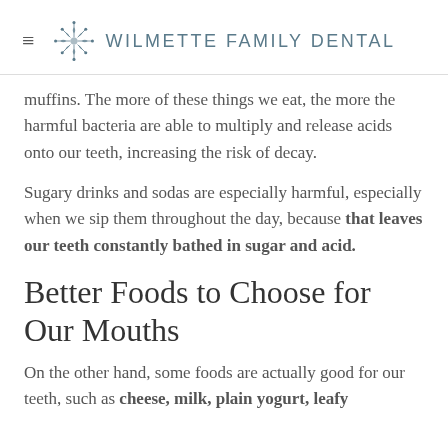WILMETTE FAMILY DENTAL
muffins. The more of these things we eat, the more the harmful bacteria are able to multiply and release acids onto our teeth, increasing the risk of decay.
Sugary drinks and sodas are especially harmful, especially when we sip them throughout the day, because that leaves our teeth constantly bathed in sugar and acid.
Better Foods to Choose for Our Mouths
On the other hand, some foods are actually good for our teeth, such as cheese, milk, plain yogurt, leafy